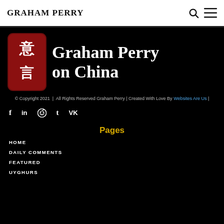GRAHAM PERRY
[Figure (logo): Chinese seal stamp logo with red background and Chinese characters, next to large white serif text reading 'Graham Perry on China']
© Copyright 2021 | All Rights Reserved Graham Perry | Created With Love By Websites Are Us |
[Figure (infographic): Social media icons: Facebook, LinkedIn, Reddit, Tumblr, VK]
Pages
HOME
DAILY COMMENTS
FEATURED
UYGHURS